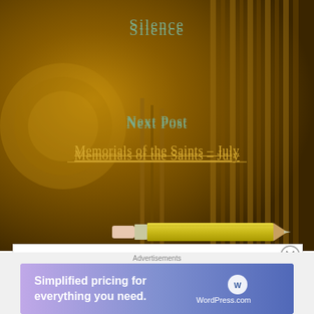[Figure (illustration): Dark golden-brown ornate background with decorative book/architectural elements, with a yellow pencil illustration overlaid]
Silence
Next Post
Memorials of the Saints – July
7 thoughts on “July Devotion – The Most Precious Blood of Jesus”
Pingback: July Devotion – The Most Precious Blood of Jesus – Devotion to St Maximilian Kolbe and the Militia Immaculata
Advertisements
[Figure (screenshot): WordPress.com advertisement banner: 'Simplified pricing for everything you need.' with WordPress.com logo on purple/pink gradient background]